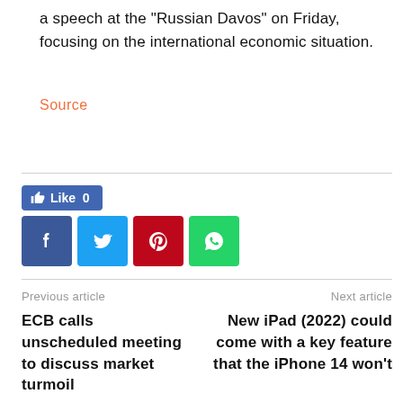a speech at the “Russian Davos” on Friday, focusing on the international economic situation.
Source
[Figure (screenshot): Facebook Like button showing count 0, followed by four social sharing buttons: Facebook (blue), Twitter (light blue), Pinterest (red), WhatsApp (green)]
Previous article
Next article
ECB calls unscheduled meeting to discuss market turmoil
New iPad (2022) could come with a key feature that the iPhone 14 won’t